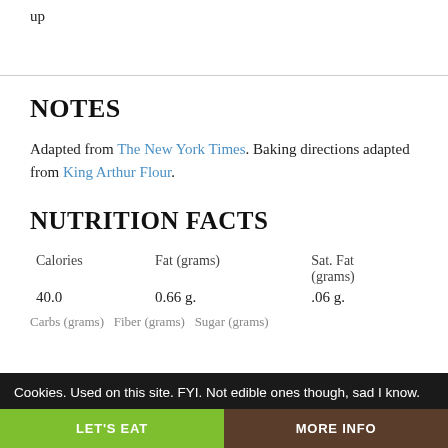up
NOTES
Adapted from The New York Times. Baking directions adapted from King Arthur Flour.
NUTRITION FACTS
| Calories | Fat (grams) | Sat. Fat (grams) |
| --- | --- | --- |
| 40.0 | 0.66 g. | .06 g. |
Cookies. Used on this site. FYI. Not edible ones though, sad I know.